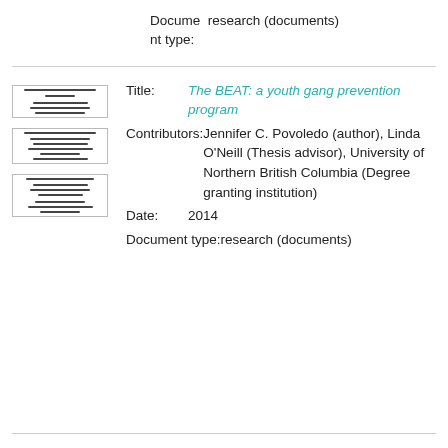Document type: research (documents)
[Figure (illustration): Three small thumbnail images of document pages stacked vertically on the left side]
Title: The BEAT: a youth gang prevention program
Contributors: Jennifer C. Povoledo (author), Linda O'Neill (Thesis advisor), University of Northern British Columbia (Degree granting institution)
Date: 2014
Document type: research (documents)